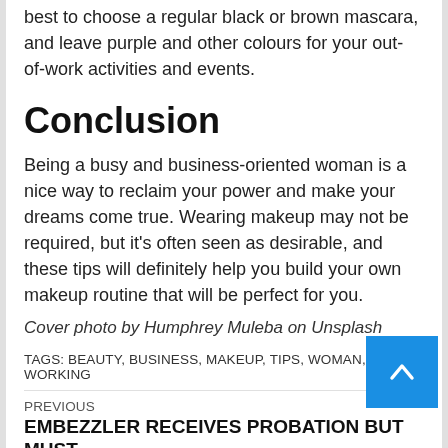best to choose a regular black or brown mascara, and leave purple and other colours for your out-of-work activities and events.
Conclusion
Being a busy and business-oriented woman is a nice way to reclaim your power and make your dreams come true. Wearing makeup may not be required, but it's often seen as desirable, and these tips will definitely help you build your own makeup routine that will be perfect for you.
Cover photo by Humphrey Muleba on Unsplash
TAGS: BEAUTY, BUSINESS, MAKEUP, TIPS, WOMAN, WORKING
PREVIOUS
EMBEZZLER RECEIVES PROBATION BUT MUST